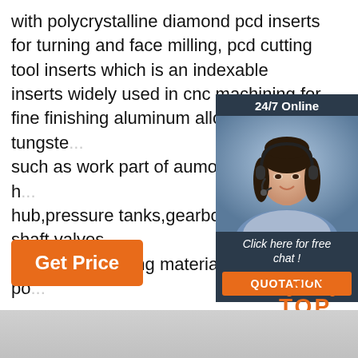with polycrystalline diamond pcd inserts for turning and face milling, pcd cutting tool inserts which is an indexable inserts widely used in cnc machining for fine finishing aluminum alloy and tungste... such as work part of aumotive cylinder h... hub,pressure tanks,gearbox shaft,valves... composite bearing materials, different po... ...
[Figure (other): 24/7 Online chat widget showing a woman with a headset, with 'Click here for free chat!' text and an orange QUOTATION button]
Get Price
[Figure (other): Orange TOP icon with dotted arc above the letters T-O-P]
[Figure (other): Gray gradient bar at bottom of page]